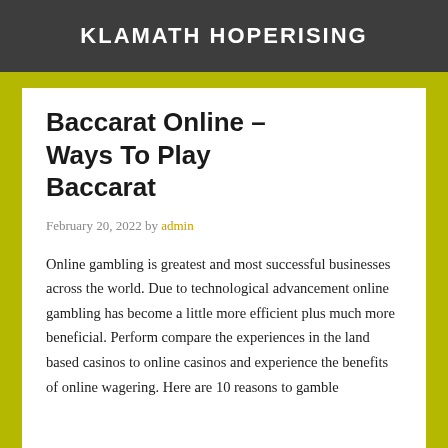KLAMATH HOPERISING
Baccarat Online – Ways To Play Baccarat
February 20, 2022 by admin
Online gambling is greatest and most successful businesses across the world. Due to technological advancement online gambling has become a little more efficient plus much more beneficial. Perform compare the experiences in the land based casinos to online casinos and experience the benefits of online wagering. Here are 10 reasons to gamble